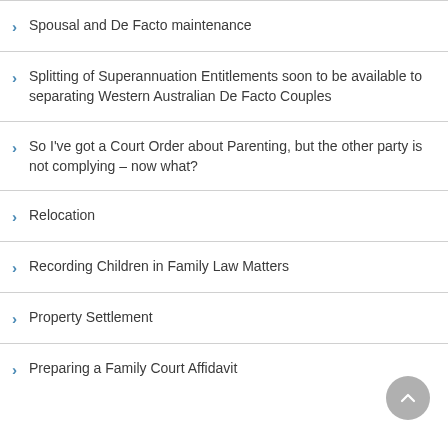Spousal and De Facto maintenance
Splitting of Superannuation Entitlements soon to be available to separating Western Australian De Facto Couples
So I've got a Court Order about Parenting, but the other party is not complying – now what?
Relocation
Recording Children in Family Law Matters
Property Settlement
Preparing a Family Court Affidavit